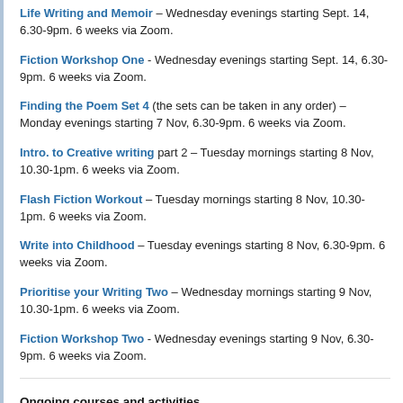Life Writing and Memoir – Wednesday evenings starting Sept. 14, 6.30-9pm. 6 weeks via Zoom.
Fiction Workshop One - Wednesday evenings starting Sept. 14, 6.30-9pm. 6 weeks via Zoom.
Finding the Poem Set 4 (the sets can be taken in any order) – Monday evenings starting 7 Nov, 6.30-9pm. 6 weeks via Zoom.
Intro. to Creative writing part 2 – Tuesday mornings starting 8 Nov, 10.30-1pm. 6 weeks via Zoom.
Flash Fiction Workout – Tuesday mornings starting 8 Nov, 10.30-1pm. 6 weeks via Zoom.
Write into Childhood – Tuesday evenings starting 8 Nov, 6.30-9pm. 6 weeks via Zoom.
Prioritise your Writing Two – Wednesday mornings starting 9 Nov, 10.30-1pm. 6 weeks via Zoom.
Fiction Workshop Two - Wednesday evenings starting 9 Nov, 6.30-9pm. 6 weeks via Zoom.
Ongoing courses and activities
Painting for Adults - Thursdays starting 21 April, either mornings 10-12.30pm, or afternoons 1.30-4pm, at CUFOS Community Centre (the old